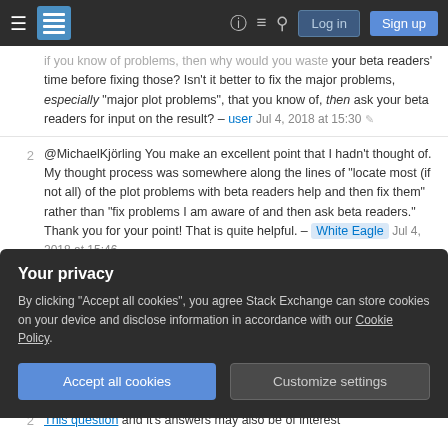Stack Exchange navigation bar with Log in and Sign up buttons
if you know of problems, then why would you waste your beta readers' time before fixing those? Isn't it better to fix the major problems, especially "major plot problems", that you know of, then ask your beta readers for input on the result? – user Jul 4, 2018 at 15:30
@MichaelKjörling You make an excellent point that I hadn't thought of. My thought process was somewhere along the lines of "locate most (if not all) of the plot problems with beta readers help and then fix them" rather than "fix problems I am aware of and then ask beta readers." Thank you for your point! That is quite helpful. – White Eagle Jul 4, 2018 at 15:46
Your privacy
By clicking "Accept all cookies", you agree Stack Exchange can store cookies on your device and disclose information in accordance with our Cookie Policy.
Accept all cookies  Customize settings
This question and it's answers may also be of interest